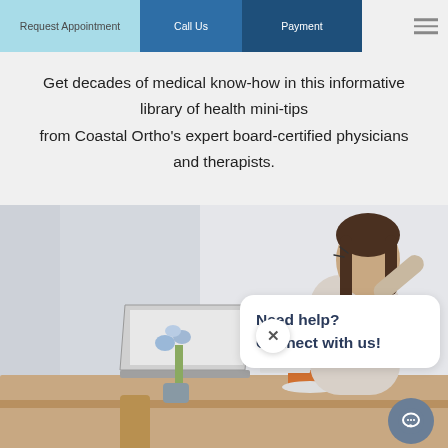Request Appointment | Call Us | Payment
Get decades of medical know-how in this informative library of health mini-tips from Coastal Ortho's expert board-certified physicians and therapists.
[Figure (photo): Woman sitting at a desk with a laptop and coffee cup, appearing to be in pain and stretching her neck/shoulder. A chat popup overlay reads 'Need help? Connect with us!' with an X close button and a chat icon button in the lower right.]